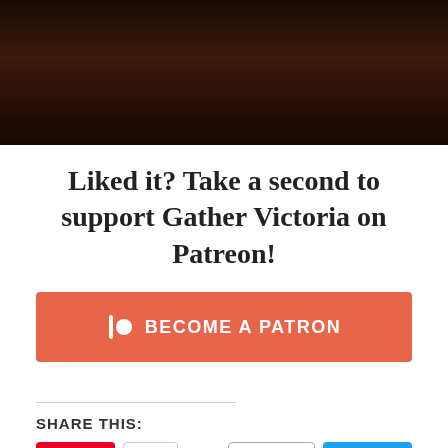[Figure (photo): Dark moody photo (top portion visible), very dark brown/black tones]
Liked it? Take a second to support Gather Victoria on Patreon!
[Figure (other): Patreon 'Become a Patron' button in coral/orange color with Patreon logo icon]
SHARE THIS:
[Figure (other): Social share buttons: Pinterest Save (13K+), Email, Tweet, More]
LIKE THIS:
Loading...